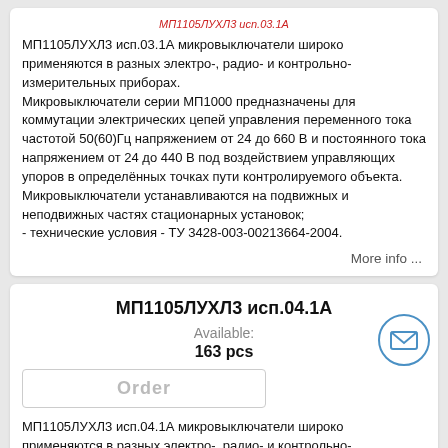МП1105ЛУХЛ3 исп.03.1А
МП1105ЛУХЛ3 исп.03.1А микровыключатели широко применяются в разных электро-, радио- и контрольно-измерительных приборах.
Микровыключатели серии МП1000 предназначены для коммутации электрических цепей управления переменного тока частотой 50(60)Гц напряжением от 24 до 660 В и постоянного тока напряжением от 24 до 440 В под воздействием управляющих упоров в определённых точках пути контролируемого объекта.
Микровыключатели устанавливаются на подвижных и неподвижных частях стационарных установок;
- технические условия - ТУ 3428-003-00213664-2004.
More info ...
МП1105ЛУХЛ3 исп.04.1А
Available:
163 pcs
Order
МП1105ЛУХЛ3 исп.04.1А микровыключатели широко применяются в разных электро-, радио- и контрольно-измерительных приборах.
Микровыключатели серии МП1000 предназначены для